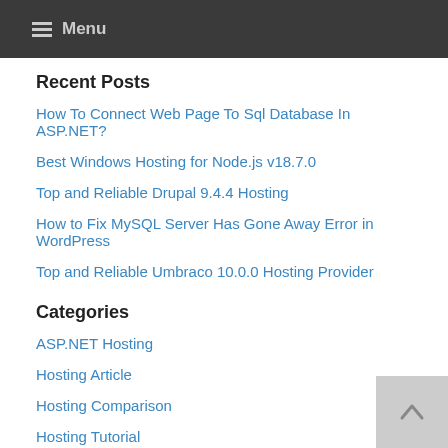Menu
Recent Posts
How To Connect Web Page To Sql Database In ASP.NET?
Best Windows Hosting for Node.js v18.7.0
Top and Reliable Drupal 9.4.4 Hosting
How to Fix MySQL Server Has Gone Away Error in WordPress
Top and Reliable Umbraco 10.0.0 Hosting Provider
Categories
ASP.NET Hosting
Hosting Article
Hosting Comparison
Hosting Tutorial
Linux Hosting
PHP Hosting